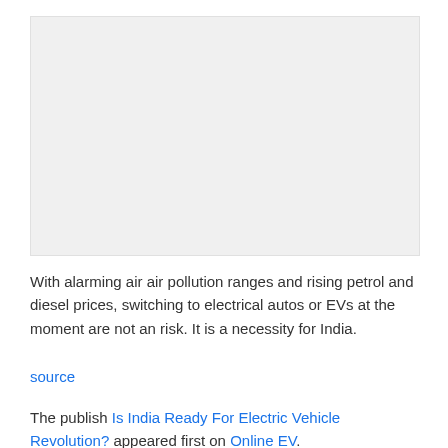[Figure (other): Gray rectangular placeholder image area]
With alarming air air pollution ranges and rising petrol and diesel prices, switching to electrical autos or EVs at the moment are not an risk. It is a necessity for India.
source
The publish Is India Ready For Electric Vehicle Revolution? appeared first on Online EV.